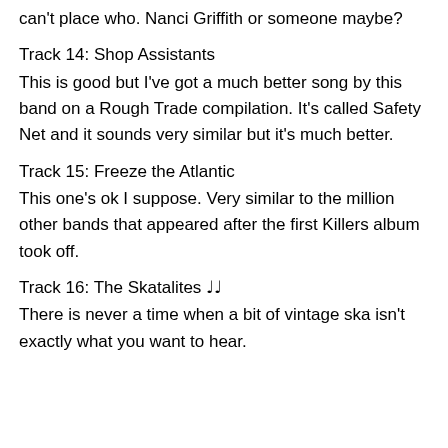can't place who. Nanci Griffith or someone maybe?
Track 14: Shop Assistants
This is good but I've got a much better song by this band on a Rough Trade compilation. It's called Safety Net and it sounds very similar but it's much better.
Track 15: Freeze the Atlantic
This one's ok I suppose. Very similar to the million other bands that appeared after the first Killers album took off.
Track 16: The Skatalites ♩♩
There is never a time when a bit of vintage ska isn't exactly what you want to hear.